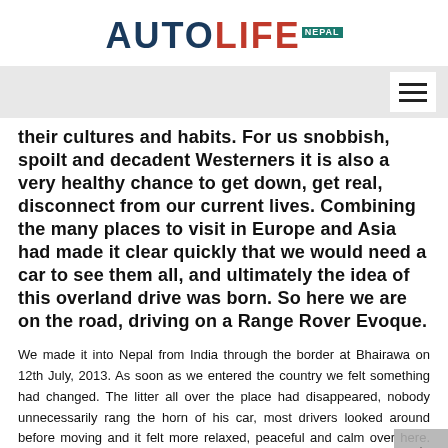AUTOLIFE NEPAL
their cultures and habits. For us snobbish, spoilt and decadent Westerners it is also a very healthy chance to get down, get real, disconnect from our current lives. Combining the many places to visit in Europe and Asia had made it clear quickly that we would need a car to see them all, and ultimately the idea of this overland drive was born. So here we are on the road, driving on a Range Rover Evoque.
We made it into Nepal from India through the border at Bhairawa on 12th July, 2013. As soon as we entered the country we felt something had changed. The litter all over the place had disappeared, nobody unnecessarily rang the horn of his car, most drivers looked around before moving and it felt more relaxed, peaceful and calm over here. We enjoyed the hour's drive over the fields towards Lumbini with the peasants working on their land.